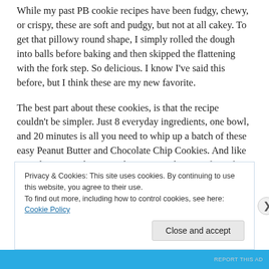While my past PB cookie recipes have been fudgy, chewy, or crispy, these are soft and pudgy, but not at all cakey. To get that pillowy round shape, I simply rolled the dough into balls before baking and then skipped the flattening with the fork step. So delicious. I know I've said this before, but I think these are my new favorite.
The best part about these cookies, is that the recipe couldn't be simpler. Just 8 everyday ingredients, one bowl, and 20 minutes is all you need to whip up a batch of these easy Peanut Butter and Chocolate Chip Cookies. And like my other peanut butter cookie recipes, these are free of eggs, dairy, refined sugar, and oil.
Privacy & Cookies: This site uses cookies. By continuing to use this website, you agree to their use.
To find out more, including how to control cookies, see here: Cookie Policy
Close and accept